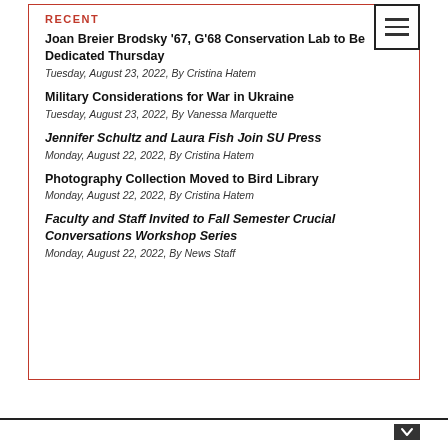RECENT
Joan Breier Brodsky '67, G'68 Conservation Lab to Be Dedicated Thursday
Tuesday, August 23, 2022, By Cristina Hatem
Military Considerations for War in Ukraine
Tuesday, August 23, 2022, By Vanessa Marquette
Jennifer Schultz and Laura Fish Join SU Press
Monday, August 22, 2022, By Cristina Hatem
Photography Collection Moved to Bird Library
Monday, August 22, 2022, By Cristina Hatem
Faculty and Staff Invited to Fall Semester Crucial Conversations Workshop Series
Monday, August 22, 2022, By News Staff